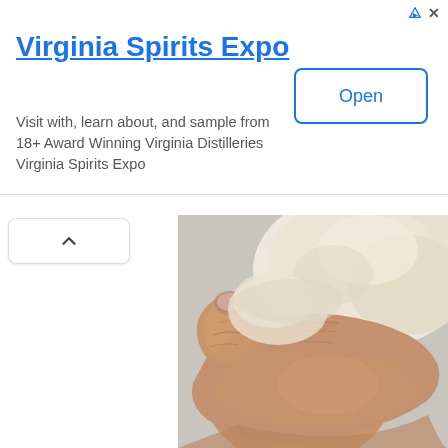[Figure (infographic): Advertisement banner for Virginia Spirits Expo with title, description text, and Open button]
Virginia Spirits Expo
Visit with, learn about, and sample from 18+ Award Winning Virginia Distilleries Virginia Spirits Expo
[Figure (photo): Close-up photograph of a hand kneading bread dough. The hand grips pale dough from below, with the thumb visible and flour dusting on the skin. The background is light gray.]